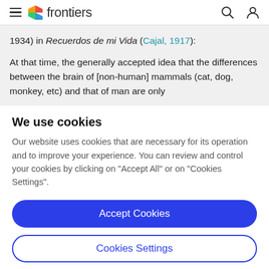frontiers
1934) in Recuerdos de mi Vida (Cajal, 1917):
At that time, the generally accepted idea that the differences between the brain of [non-human] mammals (cat, dog, monkey, etc) and that of man are only
We use cookies
Our website uses cookies that are necessary for its operation and to improve your experience. You can review and control your cookies by clicking on "Accept All" or on "Cookies Settings".
Accept Cookies
Cookies Settings